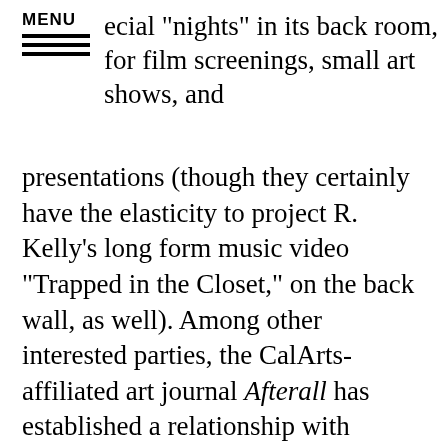MENU  ecial "nights" in its back room, for film screenings, small art shows, and
presentations (though they certainly have the elasticity to project R. Kelly's long form music video "Trapped in the Closet," on the back wall, as well). Among other interested parties, the CalArts-affiliated art journal Afterall has established a relationship with Mandrake, and regularly holds issue-release presentations, there. Roberto Ohrt's presentation was organized by Afterall.
Of course, Mandrake's mod-ish interior is not so humble as the beginnings of Ohrt's story in the Golden Pudel club, Hamburg; where one night a week, a much smaller room (in a much less